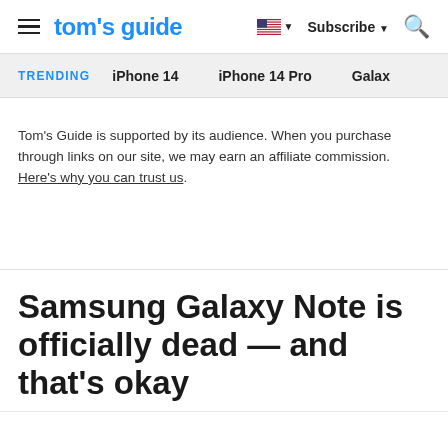tom's guide | Subscribe | [search]
TRENDING  iPhone 14  iPhone 14 Pro  Galaxy
Tom's Guide is supported by its audience. When you purchase through links on our site, we may earn an affiliate commission. Here's why you can trust us.
Samsung Galaxy Note is officially dead — and that's okay